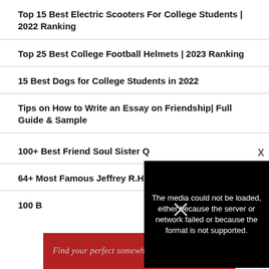Top 15 Best Electric Scooters For College Students | 2022 Ranking
Top 25 Best College Football Helmets | 2023 Ranking
15 Best Dogs for College Students in 2022
Tips on How to Write an Essay on Friendship| Full Guide & Sample
100+ Best Friend Soul Sister Q…
64+ Most Famous Jeffrey R.H…
100 B…
[Figure (screenshot): Video media error overlay: 'The media could not be loaded, either because the server or network failed or because the format is not supported.' with X close button]
[Figure (infographic): Red advertisement banner with text 'Find your perfect somewhere' and play/close icons]